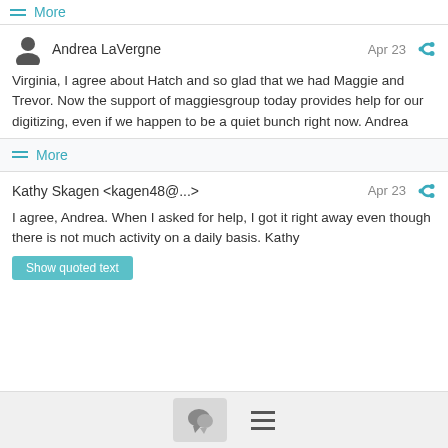≡ More
Andrea LaVergne — Apr 23
Virginia, I agree about Hatch and so glad that we had Maggie and Trevor. Now the support of maggiesgroup today provides help for our digitizing, even if we happen to be a quiet bunch right now. Andrea
≡ More
Kathy Skagen <kagen48@...> — Apr 23
I agree, Andrea. When I asked for help, I got it right away even though there is not much activity on a daily basis. Kathy
Show quoted text